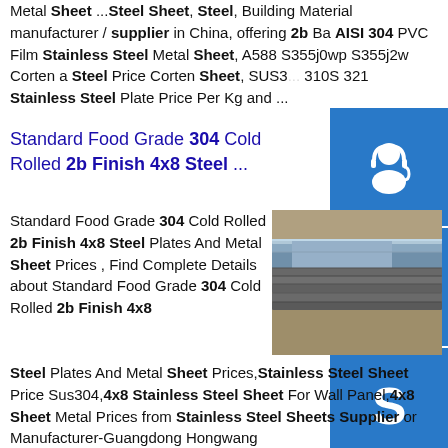Metal Sheet ...Steel Sheet, Steel, Building Material manufacturer / supplier in China, offering 2b Ba AISI 304 PVC Film Stainless Steel Metal Sheet, A588 S355j0wp S355j2w Corten a Steel Price Corten Sheet, SUS3... 310S 321 Stainless Steel Plate Price Per Kg and ...
Standard Food Grade 304 Cold Rolled 2b Finish 4x8 Steel ...
Standard Food Grade 304 Cold Rolled 2b Finish 4x8 Steel Plates And Metal Sheet Prices , Find Complete Details about Standard Food Grade 304 Cold Rolled 2b Finish 4x8 Steel Plates And Metal Sheet Prices,Stainless Steel Sheet Price Sus304,4x8 Stainless Steel Sheet For Wall Panel,4x8 Sheet Metal Prices from Stainless Steel Sheets Supplier or Manufacturer-Guangdong Hongwang
[Figure (photo): Stack of steel/metal sheets shown from the side, bluish-grey color on top, stacked on gravel or rocky ground.]